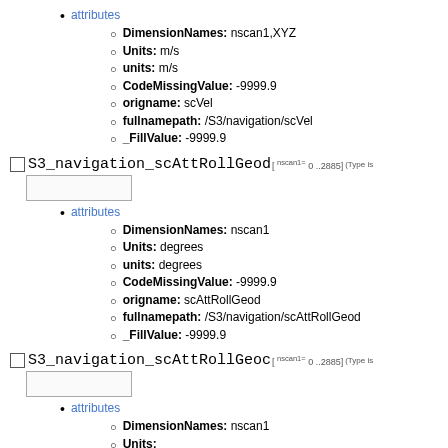attributes
DimensionNames: nscan1,XYZ
Units: m/s
units: m/s
CodeMissingValue: -9999.9
origname: scVel
fullnamepath: /S3/navigation/scVel
_FillValue: -9999.9
S3_navigation_scAttRollGeod[ nscan1= 0 ..2885] (Type is
attributes
DimensionNames: nscan1
Units: degrees
units: degrees
CodeMissingValue: -9999.9
origname: scAttRollGeod
fullnamepath: /S3/navigation/scAttRollGeod
_FillValue: -9999.9
S3_navigation_scAttRollGeoc[ nscan1= 0 ..2885] (Type is
attributes
DimensionNames: nscan1